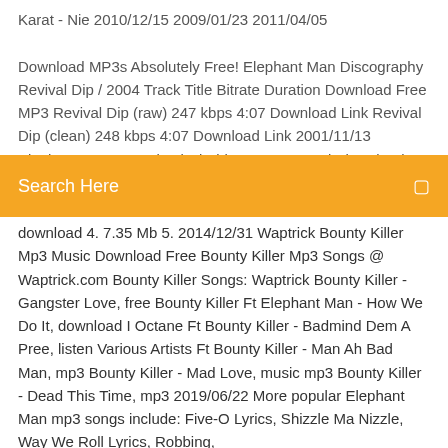Karat - Nie 2010/12/15 2009/01/23 2011/04/05

Download MP3s Absolutely Free! Elephant Man Discography Revival Dip / 2004 Track Title Bitrate Duration Download Free MP3 Revival Dip (raw) 247 kbps 4:07 Download Link Revival Dip (clean) 248 kbps 4:07 Download Link 2001/11/13 Elephant Man - Ready Fi Di Video mp3 7.35 Mb download 2. Elephant Man...
Search Here
download 4. 7.35 Mb 5. 2014/12/31 Waptrick Bounty Killer Mp3 Music Download Free Bounty Killer Mp3 Songs @ Waptrick.com Bounty Killer Songs: Waptrick Bounty Killer - Gangster Love, free Bounty Killer Ft Elephant Man - How We Do It, download I Octane Ft Bounty Killer - Badmind Dem A Pree, listen Various Artists Ft Bounty Killer - Man Ah Bad Man, mp3 Bounty Killer - Mad Love, music mp3 Bounty Killer - Dead This Time, mp3 2019/06/22 More popular Elephant Man mp3 songs include: Five-O Lyrics, Shizzle Ma Nizzle, Way We Roll Lyrics, Robbing,